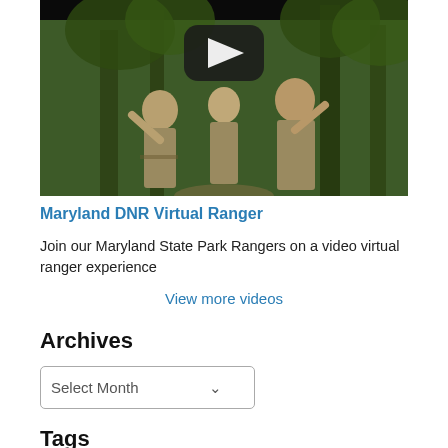[Figure (photo): Video thumbnail showing three Maryland State Park Rangers in uniform waving on a forest trail, with a YouTube play button overlay on dark background]
Maryland DNR Virtual Ranger
Join our Maryland State Park Rangers on a video virtual ranger experience
View more videos
Archives
Select Month
Tags
Allegany County  Atlantic Ocean  blue catfish  blue crab  Chesapeake